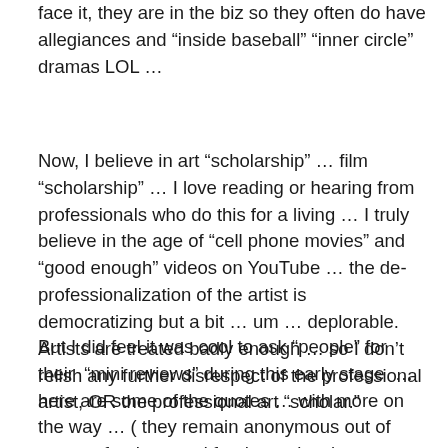face it, they are in the biz so they often do have allegiances and “inside baseball” “inner circle” dramas LOL …
Now, I believe in art “scholarship” … film “scholarship” … I love reading or hearing from professionals who do this for a living … I truly believe in the age of “cell phone movies” and “good enough” videos on YouTube … the de-professionalization of the artist is democratizing but a bit … um … deplorable. Artists are treated badly enough … so I don’t relish any further disrespect of the professional artist, OR the professional art “scholar.”
But I did feel it was cool to ask “people” for their  “mini reviews” during this early stage  …here are some of the quotes … with more on the way … ( they remain anonymous out of respect for them and for the project in